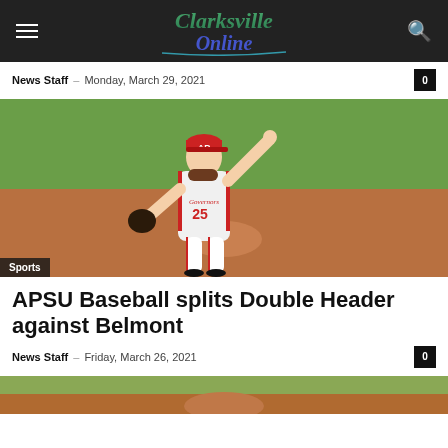Clarksville Online
News Staff – Monday, March 29, 2021
[Figure (photo): Baseball pitcher wearing APSU Governors jersey number 25 and red cap, mid-throw on a baseball field with dirt and green grass in background. Sports badge in lower left corner.]
Sports
APSU Baseball splits Double Header against Belmont
News Staff – Friday, March 26, 2021
[Figure (photo): Partial bottom strip showing another baseball-related photo.]